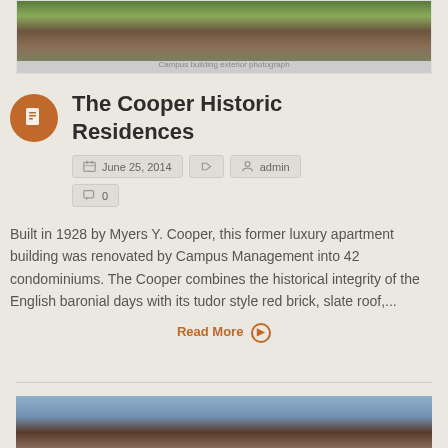[Figure (photo): Top portion of a building exterior photo card, partially cropped — red brick building with trees in front]
The Cooper Historic Residences
June 25, 2014   admin   0
Built in 1928 by Myers Y. Cooper, this former luxury apartment building was renovated by Campus Management into 42 condominiums. The Cooper combines the historical integrity of the English baronial days with its tudor style red brick, slate roof,...
Read More
[Figure (photo): Bottom portion of another building photo card — street-level view of buildings with utility lines]